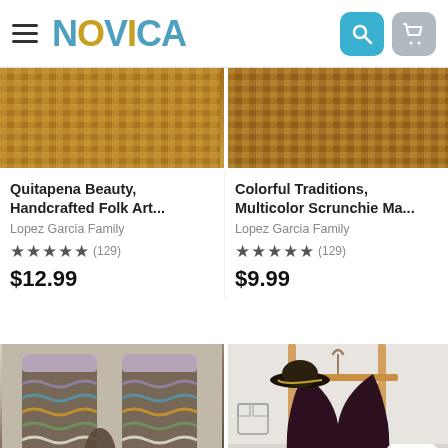NOVICA
[Figure (photo): Cropped product photo — woven hat/basket texture in golden brown tones, left product]
[Figure (photo): Cropped product photo — woven hat/basket texture in golden brown tones, right product]
Quitapena Beauty, Handcrafted Folk Art...
Lopez Garcia Family
★★★★★ (129)
$12.99
Colorful Traditions, Multicolor Scrunchie Ma...
Lopez Garcia Family
★★★★★ (129)
$9.99
[Figure (photo): Fingerless knitted gloves with multicolor zigzag/chevron pattern in earth tones, displayed on light background. Chat icon badge in bottom left corner.]
[Figure (photo): Dark purple/plum chunky knit shawl or poncho hanging on wooden clothing rack, with a black and tan hat on the rack. Up arrow button in bottom right corner.]